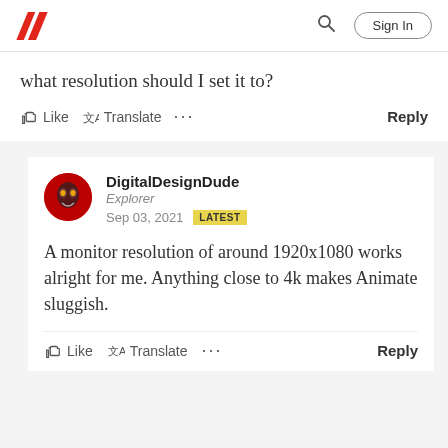Adobe community header with logo, search, and Sign In button
what resolution should I set it to?
Like  Translate  ...  Reply
DigitalDesignDude
Explorer
Sep 03, 2021  LATEST
A monitor resolution of around 1920x1080 works alright for me. Anything close to 4k makes Animate sluggish.
Like  Translate  ...  Reply